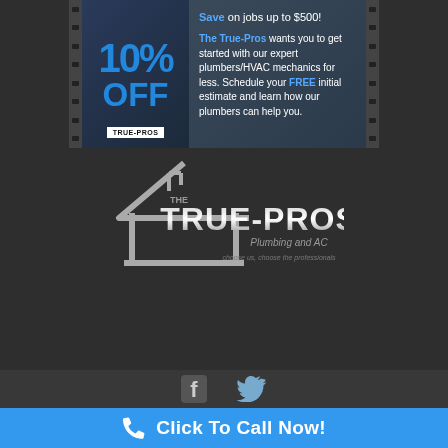[Figure (infographic): Advertisement banner for The True-Pros showing 10% OFF promotion with film strip border design. Left side shows '10% OFF' in large blue text with TRUE-PROS brand label. Right side has text: 'Save on jobs up to $500! The True-Pros wants you to get started with our expert plumbers/HVAC mechanics for less. Schedule your FREE initial estimate and learn how our plumbers can help you.']
[Figure (logo): The True-Pros logo with house outline icon, 'THE TRUE-PROS' text in metallic style, 'Plumbing and AC' subtitle, and tagline 'choose us, choose the professionals']
[Figure (infographic): Social media icons: Facebook and Twitter icons on dark bar]
Click To Call Now!